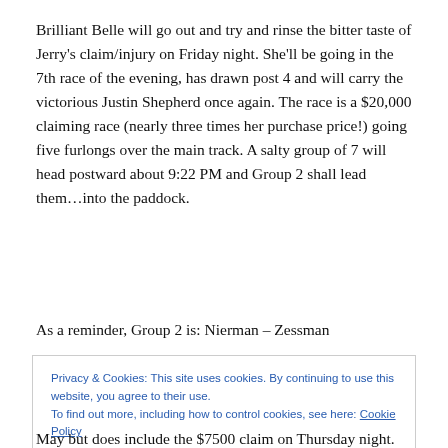Brilliant Belle will go out and try and rinse the bitter taste of Jerry's claim/injury on Friday night. She'll be going in the 7th race of the evening, has drawn post 4 and will carry the victorious Justin Shepherd once again. The race is a $20,000 claiming race (nearly three times her purchase price!) going five furlongs over the main track. A salty group of 7 will head postward about 9:22 PM and Group 2 shall lead them…into the paddock.
As a reminder, Group 2 is: Nierman – Zessman
Privacy & Cookies: This site uses cookies. By continuing to use this website, you agree to their use.
To find out more, including how to control cookies, see here: Cookie Policy
May but does include the $7500 claim on Thursday night.